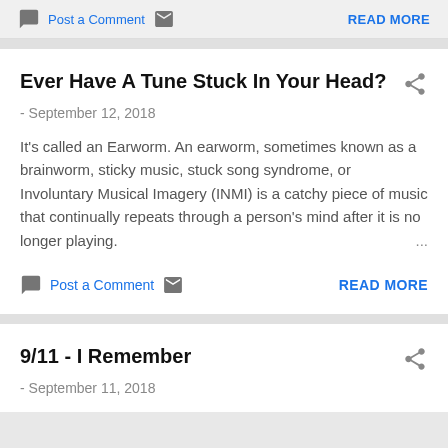Post a Comment  READ MORE
Ever Have A Tune Stuck In Your Head?
- September 12, 2018
It's called an Earworm. An earworm, sometimes known as a brainworm, sticky music, stuck song syndrome, or Involuntary Musical Imagery (INMI) is a catchy piece of music that continually repeats through a person's mind after it is no longer playing.
Post a Comment  READ MORE
9/11 - I Remember
- September 11, 2018